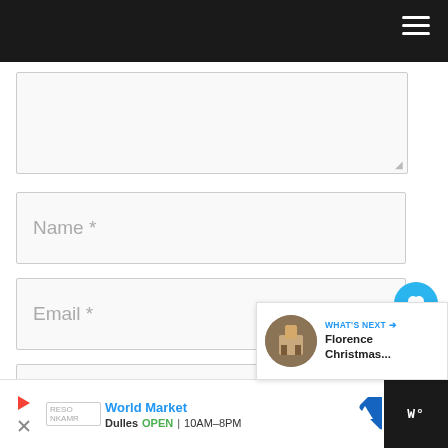[Figure (screenshot): Dark top navigation bar with hamburger menu icon on the right]
[Figure (screenshot): Web form with textarea, Name, Email, Website input fields and a save name checkbox. Floating heart and share buttons on the right. A 'What's Next - Florence Christmas...' widget overlays the bottom right. An advertisement bar at the bottom shows World Market, Dulles OPEN 10AM-8PM.]